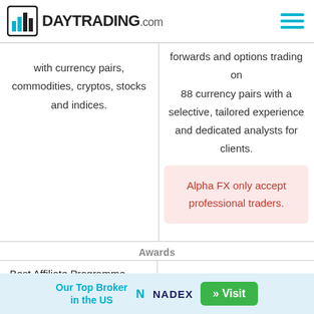DAYTRADING.com
with currency pairs, commodities, cryptos, stocks and indices.
forwards and options trading on 88 currency pairs with a selective, tailored experience and dedicated analysts for clients.
Alpha FX only accept professional traders.
Awards
Best Affiliate Programme 2017 - ShowFX World
Best New ECN Broker In Africa
Our Top Broker in the US  NADEX  » Visit